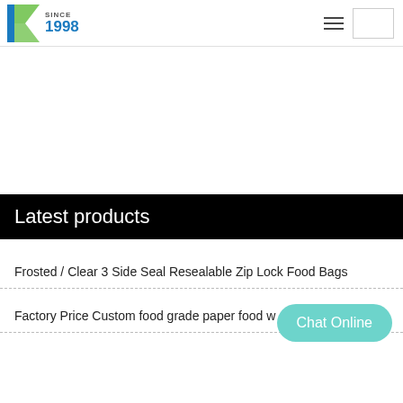[Figure (logo): Company logo with a blue and green K shape, text SINCE 1998]
Latest products
Frosted / Clear 3 Side Seal Resealable Zip Lock Food Bags
Factory Price Custom food grade paper food w…
Chat Online